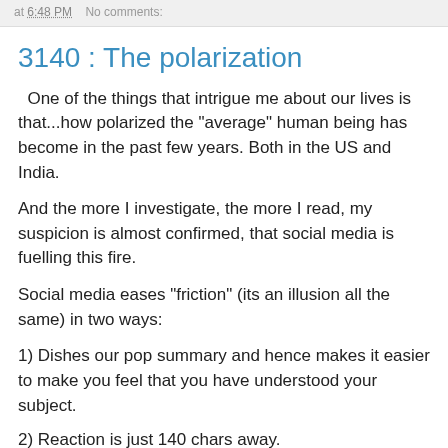at 6:48 PM   No comments:
3140 : The polarization
One of the things that intrigue me about our lives is that...how polarized the "average" human being has become in the past few years. Both in the US and India.
And the more I investigate, the more I read, my suspicion is almost confirmed, that social media is fuelling this fire.
Social media eases "friction" (its an illusion all the same) in two ways:
1) Dishes our pop summary and hence makes it easier to make you feel that you have understood your subject.
2) Reaction is just 140 chars away.
The ease of reaction brings the worst of our innate instincts. The "lower version of ourselves". We unleash it, without realizing it, that that social media is now a reflection of how